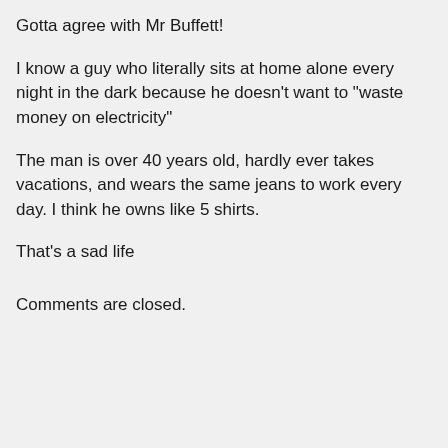Gotta agree with Mr Buffett!
I know a guy who literally sits at home alone every night in the dark because he doesn’t want to “waste money on electricity”
The man is over 40 years old, hardly ever takes vacations, and wears the same jeans to work every day. I think he owns like 5 shirts.
That’s a sad life
Comments are closed.